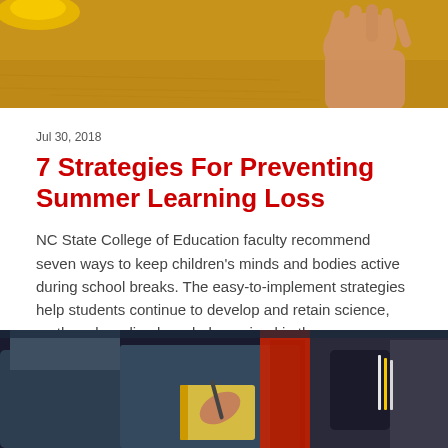[Figure (photo): Close-up photo of golden sand with a hand touching it and a yellow hat partially visible]
Jul 30, 2018
7 Strategies For Preventing Summer Learning Loss
NC State College of Education faculty recommend seven ways to keep children's minds and bodies active during school breaks. The easy-to-implement strategies help students continue to develop and retain science, math and reading knowledge gained in the classroom. →
[Figure (photo): Photo of graduates in academic regalia holding notebooks and pens, with backpacks visible]